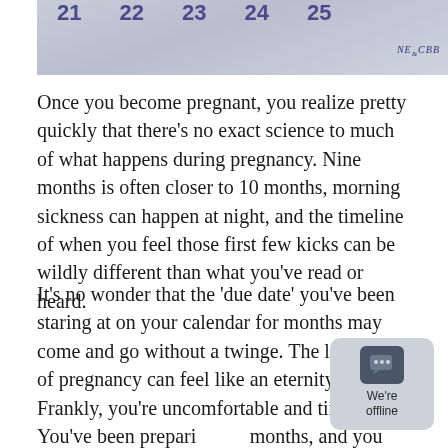[Figure (photo): Cropped photo of calendar or date tiles showing numbers 21, 22, 23, 24, 25 with a NE&CBB watermark in the bottom right corner]
Once you become pregnant, you realize pretty quickly that there’s no exact science to much of what happens during pregnancy. Nine months is often closer to 10 months, morning sickness can happen at night, and the timeline of when you feel those first few kicks can be wildly different than what you’ve read or heard.
It’s no wonder that the ‘due date’ you’ve been staring at on your calendar for months may come and go without a twinge. The last month of pregnancy can feel like an eternity! Frankly, you’re uncomfortable and tired. You’ve been preparing for months, and you are ready for your new baby to be here. Now. Read More »